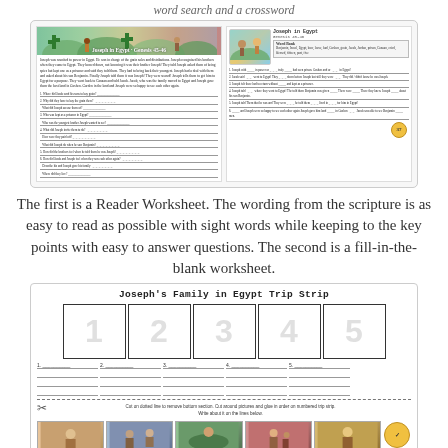word search and a crossword
[Figure (illustration): Two worksheet preview panels side by side: left panel shows a Reader Worksheet with a colorful illustrated header and text questions with blank lines; right panel shows a Word Bank fill-in-the-blank worksheet titled 'Joseph in Egypt Genesis 45-46' with a small illustration and word bank box.]
The first is a Reader Worksheet. The wording from the scripture is as easy to read as possible with sight words while keeping to the key points with easy to answer questions. The second is a fill-in-the-blank worksheet.
[Figure (illustration): Joseph's Family in Egypt Trip Strip worksheet showing 5 numbered boxes (1-5) for sequencing, with label lines below each box, a scissor cut line, instructions to cut and glue in order on numbered trip strip and write about it on the lines below, and a photo strip at the bottom with colorful scene images and a circular badge.]